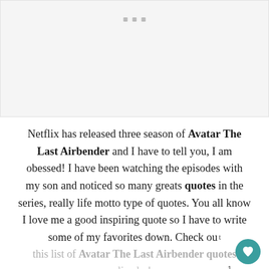[Figure (other): Light gray image placeholder area with three small square dots near the top center]
Netflix has released three season of Avatar The Last Airbender and I have to tell you, I am obessed!  I have been watching the episodes with my son and noticed so many greats quotes in the series, really life motto type of quotes.  You all know I love me a good inspiring quote so I have to write some of my favorites down.  Check out this list of Avatar The Last Airbender quotes live by!